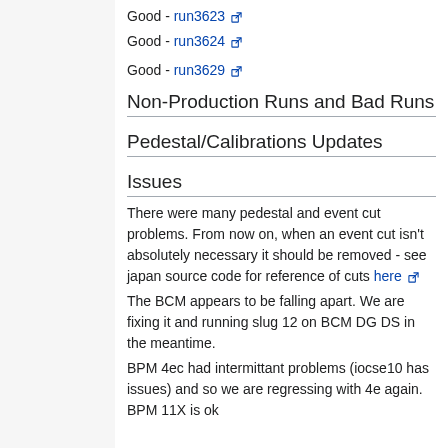Good - run3623
Good - run3624
Good - run3629
Non-Production Runs and Bad Runs
Pedestal/Calibrations Updates
Issues
There were many pedestal and event cut problems. From now on, when an event cut isn't absolutely necessary it should be removed - see japan source code for reference of cuts here
The BCM appears to be falling apart. We are fixing it and running slug 12 on BCM DG DS in the meantime.
BPM 4ec had intermittant problems (iocse10 has issues) and so we are regressing with 4e again. BPM 11X is ok